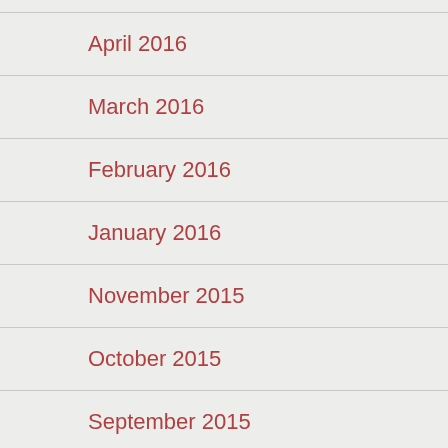April 2016
March 2016
February 2016
January 2016
November 2015
October 2015
September 2015
August 2015
July 2015
June 2015